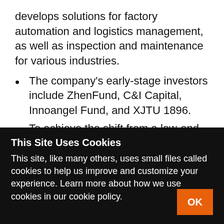develops solutions for factory automation and logistics management, as well as inspection and maintenance for various industries.
The company's early-stage investors include ZhenFund, C&I Capital, Innoangel Fund, and XJTU 1896.
To achieve the shift from a low-end manufacturer to a high-end producer, China released the 'Made in China 2025' plan in 2015,
This Site Uses Cookies
This site, like many others, uses small files called cookies to help us improve and customize your experience. Learn more about how we use cookies in our cookie policy.